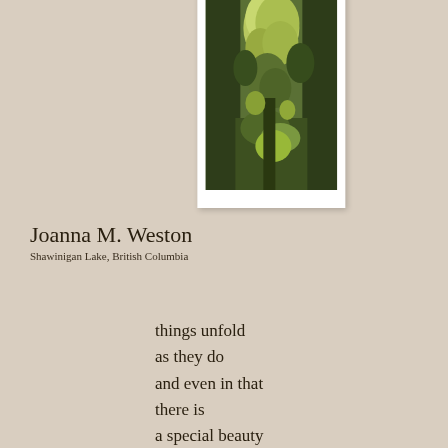[Figure (photo): A photograph in a white frame showing dense green foliage and trees, nature scene with lush vegetation]
Joanna M. Weston
Shawinigan Lake, British Columbia
things unfold
as they do
and even in that
there is
a special beauty
Judith Partin-Nielsen
Longmont, Colorado